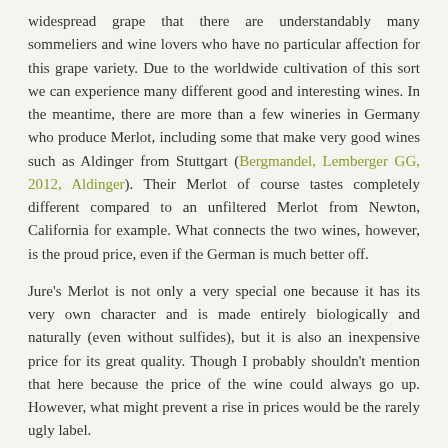widespread grape that there are understandably many sommeliers and wine lovers who have no particular affection for this grape variety. Due to the worldwide cultivation of this sort we can experience many different good and interesting wines. In the meantime, there are more than a few wineries in Germany who produce Merlot, including some that make very good wines such as Aldinger from Stuttgart (Bergmandel, Lemberger GG, 2012, Aldinger). Their Merlot of course tastes completely different compared to an unfiltered Merlot from Newton, California for example. What connects the two wines, however, is the proud price, even if the German is much better off.
Jure's Merlot is not only a very special one because it has its very own character and is made entirely biologically and naturally (even without sulfides), but it is also an inexpensive price for its great quality. Though I probably shouldn't mention that here because the price of the wine could always go up. However, what might prevent a rise in prices would be the rarely ugly label.